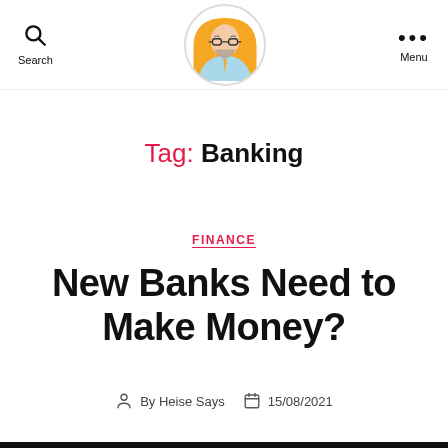Search | [Logo] | Menu
Tag: Banking
FINANCE
New Banks Need to Make Money?
By Heise Says  15/08/2021